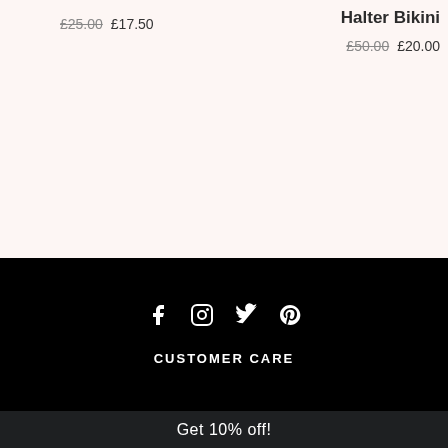£25.00 £17.50
Halter Bikini
£50.00 £20.00
[Figure (infographic): Social media icons: Facebook, Instagram, Twitter, Pinterest in white on black background]
CUSTOMER CARE
Get 10% off!